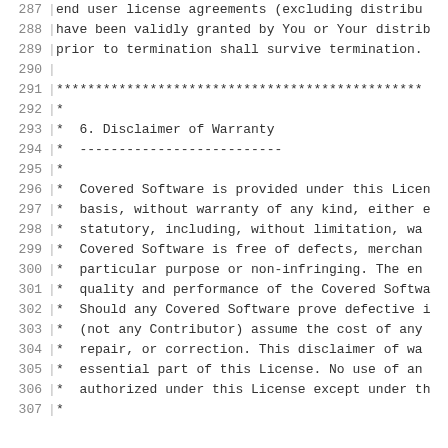287  end user license agreements (excluding distribu
288  have been validly granted by You or Your distrib
289  prior to termination shall survive termination.
290
291  *************************************************
292  *
293  *  6. Disclaimer of Warranty
294  *  --------------------------
295  *
296  *  Covered Software is provided under this Licen
297  *  basis, without warranty of any kind, either e
298  *  statutory, including, without limitation, wa
299  *  Covered Software is free of defects, merchan
300  *  particular purpose or non-infringing. The en
301  *  quality and performance of the Covered Softwa
302  *  Should any Covered Software prove defective i
303  *  (not any Contributor) assume the cost of any
304  *  repair, or correction. This disclaimer of wa
305  *  essential part of this License. No use of an
306  *  authorized under this License except under th
307  *